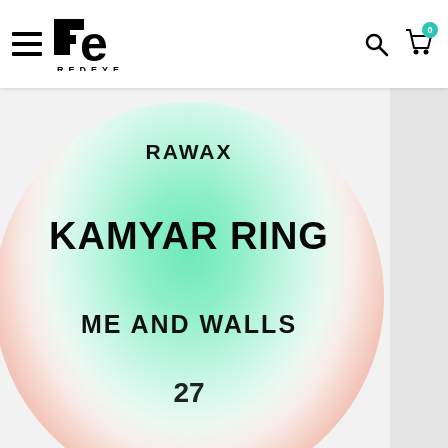REDEYE
[Figure (illustration): Circular album artwork with a green-to-pink radial gradient. Text inside reads: RAWAX at top, KAMYAR RING in the middle, ME AND WALLS below, and 27 at the bottom.]